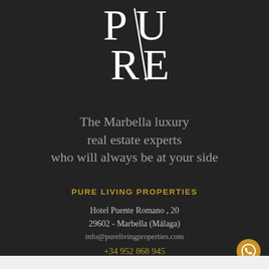[Figure (logo): PURE logo with stylized PU/RE lettering in white serif font on dark background]
The Marbella luxury real estate experts who will always be at your side
PURE LIVING PROPERTIES
Hotel Puente Romano , 20
29602 - Marbella (Málaga)
info@purelivingproperties.com
+34 952 868 945